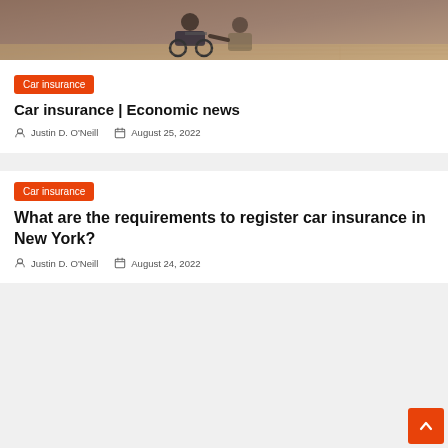[Figure (photo): Two people, one in a wheelchair, in an indoor setting with wooden flooring]
Car insurance
Car insurance | Economic news
Justin D. O'Neill   August 25, 2022
Car insurance
What are the requirements to register car insurance in New York?
Justin D. O'Neill   August 24, 2022